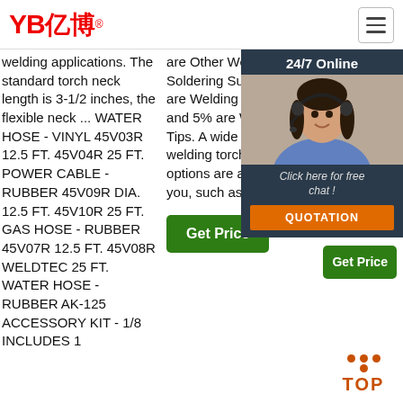[Figure (logo): YB亿博 company logo in red with registered trademark symbol]
[Figure (other): Hamburger menu button (three horizontal lines in a bordered box)]
welding applications. The standard torch neck length is 3-1/2 inches, the flexible neck ... WATER HOSE - VINYL 45V03R 12.5 FT. 45V04R 25 FT. POWER CABLE - RUBBER 45V09R DIA. 12.5 FT. 45V10R 25 FT. GAS HOSE - RUBBER 45V07R 12.5 FT. 45V08R WELDTEC 25 FT. WATER HOSE - RUBBER AK-125 ACCESSORY KIT - 1/8 INCLUDES 1
are Other Welding & Soldering Supplies, 16% are Welding Torches, and 5% are Welding Tips. A wide variety of welding torch ocim options are available to you, such as type.
[Figure (other): Green 'Get Price' button]
12.5 ft. 45v04r 25 ft. pow rub ft. 4 45v hos 45v hos torc 9p-L han
[Figure (other): Green 'Get Price' button (right column)]
[Figure (other): Chat widget overlay: 24/7 Online header, woman with headset photo, 'Click here for free chat!' text, orange QUOTATION button]
[Figure (other): TOP navigation button with orange dots above and orange TOP text]